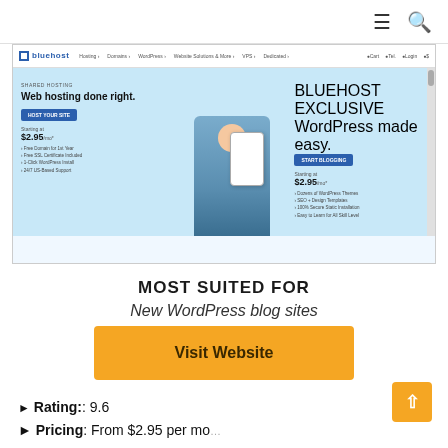[Figure (screenshot): Bluehost website screenshot showing hero banner with 'Web hosting done right.' and 'WordPress made easy.' alongside a smiling man in a blue shirt, with pricing starting at $2.95/mo and blue CTA buttons]
MOST SUITED FOR
New WordPress blog sites
Visit Website
Rating:: 9.6
Pricing: From $2.95 per month